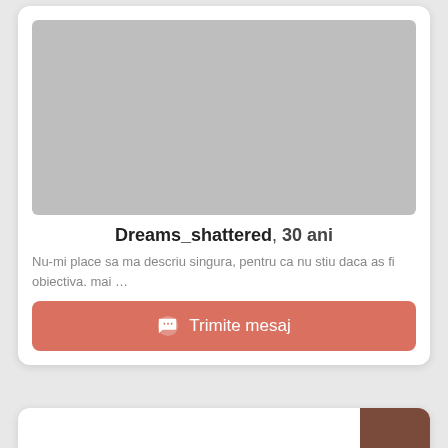[Figure (photo): Gray placeholder image for user profile photo]
Dreams_shattered, 30 ani
Nu-mi place sa ma descriu singura, pentru ca nu stiu daca as fi obiectiva. mai …
Trimite mesaj